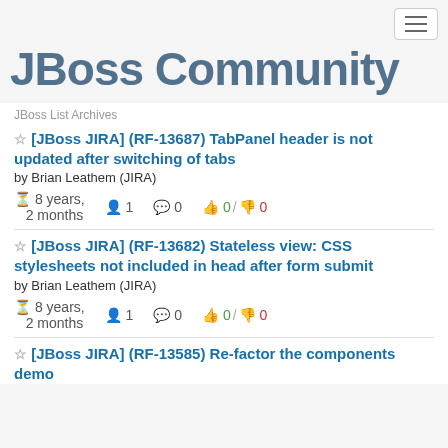[Figure (logo): JBoss Community logo in dark blue/slate text on light gray background]
JBoss List Archives
[JBoss JIRA] (RF-13687) TabPanel header is not updated after switching of tabs
by Brian Leathem (JIRA)
8 years, 2 months | 1 | 0 | 0 / 0
[JBoss JIRA] (RF-13682) Stateless view: CSS stylesheets not included in head after form submit
by Brian Leathem (JIRA)
8 years, 2 months | 1 | 0 | 0 / 0
[JBoss JIRA] (RF-13585) Re-factor the components demo